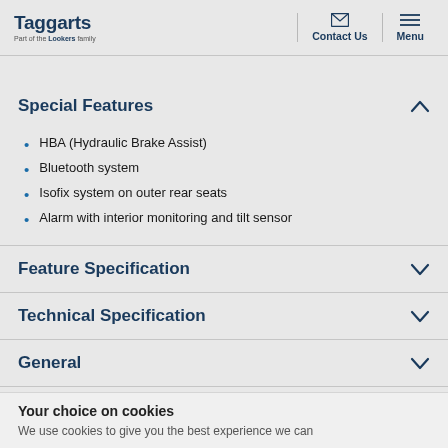Taggarts | Part of the Lookers family | Contact Us | Menu
Special Features
HBA (Hydraulic Brake Assist)
Bluetooth system
Isofix system on outer rear seats
Alarm with interior monitoring and tilt sensor
Feature Specification
Technical Specification
General
Your choice on cookies
We use cookies to give you the best experience we can